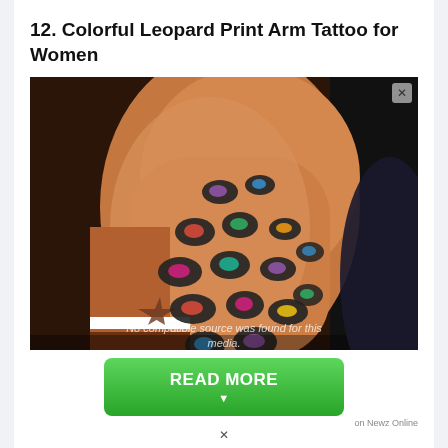12. Colorful Leopard Print Arm Tattoo for Women
[Figure (photo): Close-up photo of a woman's arm and shoulder showing a colorful leopard print tattoo. The tattoo features black leopard spots with colorful fills including pink, blue, yellow, and purple on the upper arm/shoulder area. A striped clothing item is visible at the bottom. A watermark overlay reads 'No compatible source was found for this media.']
READ MORE